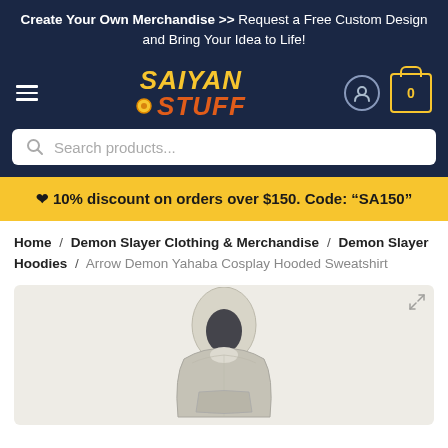Create Your Own Merchandise >> Request a Free Custom Design and Bring Your Idea to Life!
[Figure (logo): Saiyan Stuff logo with yellow SAIYAN text and orange STUFF text with dragon ball dot]
Search products...
❤ 10% discount on orders over $150. Code: "SA150"
Home / Demon Slayer Clothing & Merchandise / Demon Slayer Hoodies / Arrow Demon Yahaba Cosplay Hooded Sweatshirt
[Figure (photo): Arrow Demon Yahaba Cosplay Hooded Sweatshirt product photo showing close-up of the hoodie in light grey/cream color on a light background]